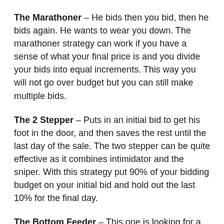The Marathoner – He bids then you bid, then he bids again. He wants to wear you down. The marathoner strategy can work if you have a sense of what your final price is and you divide your bids into equal increments. This way you will not go over budget but you can still make multiple bids.
The 2 Stepper – Puts in an initial bid to get his foot in the door, and then saves the rest until the last day of the sale. The two stepper can be quite effective as it combines intimidator and the sniper. With this strategy put 90% of your bidding budget on your initial bid and hold out the last 10% for the final day.
The Bottom Feeder – This one is looking for a deal, has patience and only bids in low or no competition situations. The bottom feeder strategy